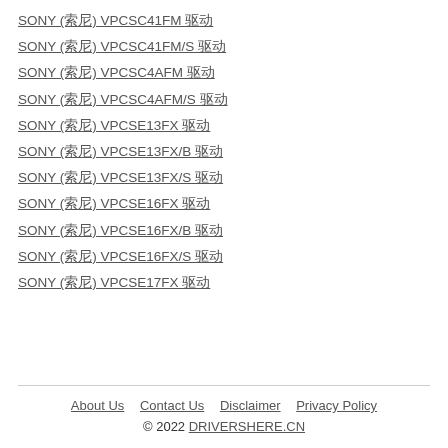SONY (索尼) VPCSC41FM 驱动
SONY (索尼) VPCSC41FM/S 驱动
SONY (索尼) VPCSC4AFM 驱动
SONY (索尼) VPCSC4AFM/S 驱动
SONY (索尼) VPCSE13FX 驱动
SONY (索尼) VPCSE13FX/B 驱动
SONY (索尼) VPCSE13FX/S 驱动
SONY (索尼) VPCSE16FX 驱动
SONY (索尼) VPCSE16FX/B 驱动
SONY (索尼) VPCSE16FX/S 驱动
SONY (索尼) VPCSE17FX 驱动
About Us  Contact Us  Disclaimer  Privacy Policy
© 2022 DRIVERSHERE.CN